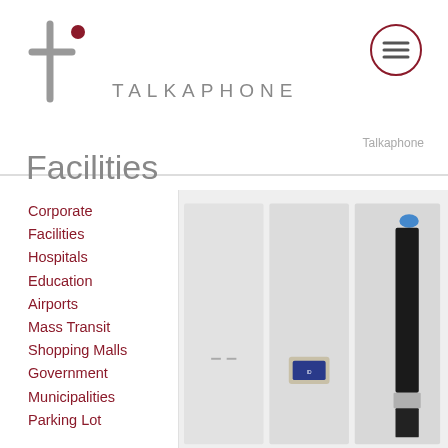[Figure (logo): Talkaphone logo with stylized lowercase t and red dot, followed by TALKAPHONE text]
[Figure (other): Hamburger menu icon in a dark red circle outline]
Talkaphone
Facilities
Corporate Facilities
Hospitals
Education
Airports
Mass Transit
Shopping Malls
Government
Municipalities
Parking Lot
[Figure (photo): Three product images: a slim panel intercom unit, a small card/badge device, and a tall emergency call post with blue light on top]